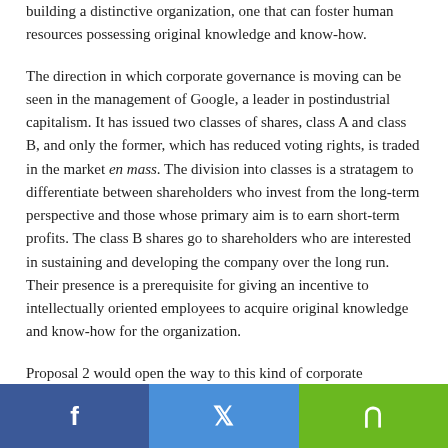building a distinctive organization, one that can foster human resources possessing original knowledge and know-how.
The direction in which corporate governance is moving can be seen in the management of Google, a leader in postindustrial capitalism. It has issued two classes of shares, class A and class B, and only the former, which has reduced voting rights, is traded in the market en mass. The division into classes is a stratagem to differentiate between shareholders who invest from the long-term perspective and those whose primary aim is to earn short-term profits. The class B shares go to shareholders who are interested in sustaining and developing the company over the long run. Their presence is a prerequisite for giving an incentive to intellectually oriented employees to acquire original knowledge and know-how for the organization.
Proposal 2 would open the way to this kind of corporate governance, including an alignment...
[Figure (other): Social sharing bar with three buttons: Facebook (blue), Twitter (light blue), Share (green)]